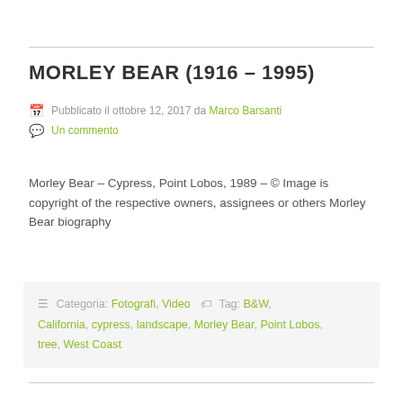MORLEY BEAR (1916 – 1995)
Pubblicato il ottobre 12, 2017 da Marco Barsanti
Un commento
Morley Bear – Cypress, Point Lobos, 1989 – © Image is copyright of the respective owners, assignees or others Morley Bear biography
Categoria: Fotografi, Video  Tag: B&W, California, cypress, landscape, Morley Bear, Point Lobos, tree, West Coast